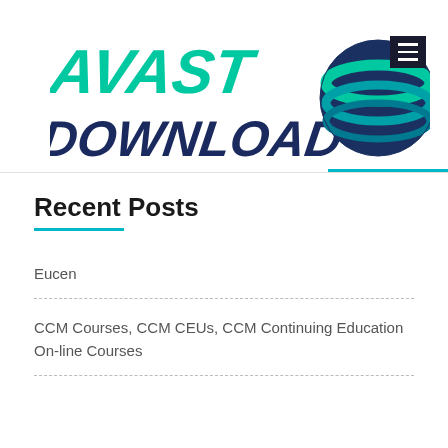[Figure (logo): AVAST DOWNLOAD logo with teal italic stylized text and a circular globe/wave graphic in teal and navy blue on the right side]
Recent Posts
Eucen
CCM Courses, CCM CEUs, CCM Continuing Education On-line Courses